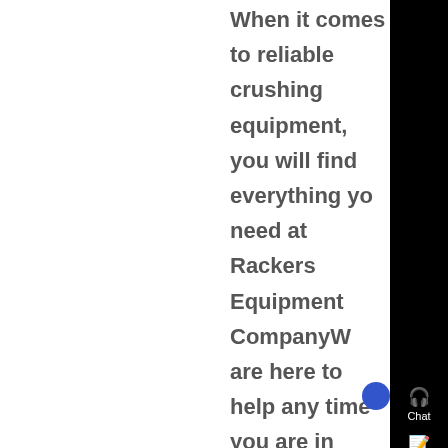When it comes to reliable crushing equipment, you will find everything you need at Rackers Equipment CompanyWe are here to help any time you are in need of used sand equipment and gravel equipment in Missouri At our location in Jefferson City, we have a large selection of both primary and secondary crushers to choose from...
[Figure (photo): Thumbnail image of industrial crushing equipment]
Crushers For Sale - Equipment Trader - Know More
They allow for the crushing of rocks into gravel, smaller rocks, or even miniscule dust Equipment Trader's website allows users to quickly search for the best